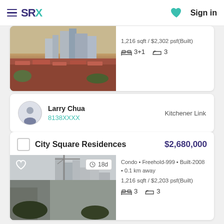SRX | Sign in
1,216 sqft / $2,302 psf(Built) | 3+1 beds | 3 baths
Larry Chua | 8138XXXX | Kitchener Link
City Square Residences $2,680,000
18d | Condo • Freehold-999 • Built-2008 • 0.1 km away | 1,216 sqft / $2,203 psf(Built) | 3 beds | 3 baths